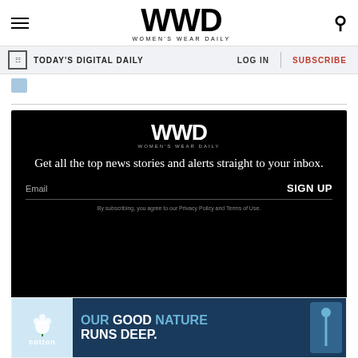WWD Women's Wear Daily
TODAY'S DIGITAL DAILY | LOG IN | SUBSCRIBE
[Figure (screenshot): Small blue thumbnail image, partially visible]
[Figure (infographic): WWD newsletter signup box with black background. Logo: WWD Women's Wear Daily. Text: Get all the top news stories and alerts straight to your inbox. Email field with SIGN UP button. Disclaimer: By subscribing, you agree to our Privacy Policy and Terms of Use.]
[Figure (infographic): Cotton Inc. advertisement banner: OUR GOOD NATURE RUNS DEEP.]